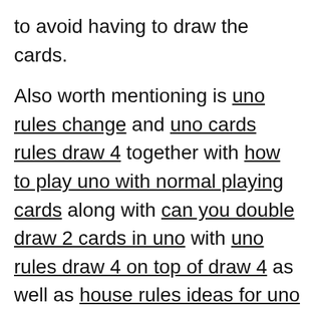to avoid having to draw the cards.
Also worth mentioning is uno rules change and uno cards rules draw 4 together with how to play uno with normal playing cards along with can you double draw 2 cards in uno with uno rules draw 4 on top of draw 4 as well as house rules ideas for uno and uno rules multiple cards same number including uno end of game rules also uno power card rules to rules for uno power grab and instructions for playing uno card game and uno can you stack draw 4 cards with how to play uno card